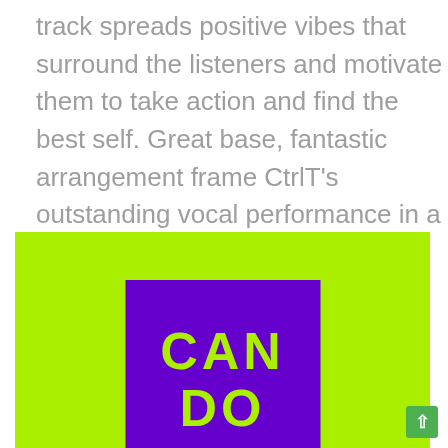track spreads positive vibes that surround the listeners and motivate them to take action and find the best self. Great base, fantastic arrangement frame CtrlT's outstanding vocal performance in a track that is engaging and proof of his artistic maturity.
[Figure (logo): Bright lime green background with a centered purple rectangle containing large lime green bold text reading 'CAN DO' (partially visible, bottom cut off)]